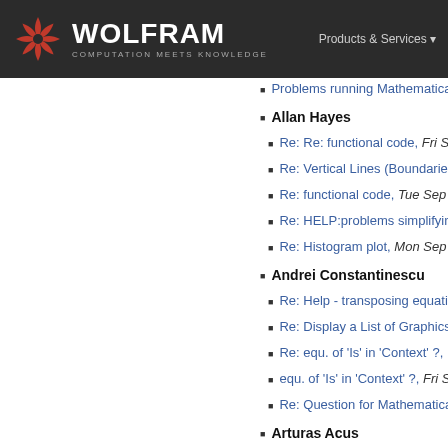WOLFRAM COMPUTATION MEETS KNOWLEDGE | Products & Services
Problems running Mathematica 2.2.3 a...
Allan Hayes
Re: Re: functional code, Fri Sep 27, 199...
Re: Vertical Lines (Boundaries), Tue Sep...
Re: functional code, Tue Sep 17, 1996
Re: HELP:problems simplifying big mat...
Re: Histogram plot, Mon Sep 02, 1996
Andrei Constantinescu
Re: Help - transposing equation, Fri Sep...
Re: Display a List of Graphics, Fri Sep 2...
Re: equ. of 'Is' in 'Context' ?, Tue Sep 17...
equ. of 'Is' in 'Context' ?, Fri Sep 13, 199...
Re: Question for Mathematica, Thu Sep...
Arturas Acus
FindRoot problem, Fri Sep 20, 1996
package loading via link, Fri Sep 13, 199...